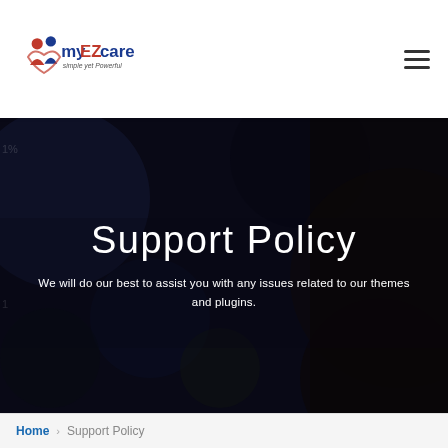myEZcare simple yet Powerful — navigation header with hamburger menu
[Figure (illustration): Dark hero banner with blurred background showing bokeh/technology imagery. Contains large white text 'Support Policy' and subtitle text.]
Support Policy
We will do our best to assist you with any issues related to our themes and plugins.
Home > Support Policy